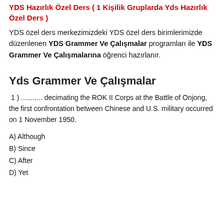YDS Hazırlık Özel Ders ( 1 Kişilik Gruplarda Yds Hazırlık Özel Ders )
YDS özel ders merkezimizdeki YDS özel ders birimlerimizde düzenlenen YDS Grammer Ve Çalışmalar programları ile YDS Grammer Ve Çalışmalarına öğrenci hazırlanır.
Yds Grammer Ve Çalışmalar
1 ) ........... decimating the ROK II Corps at the Battle of Onjong, the first confrontation between Chinese and U.S. military occurred on 1 November 1950.
A) Although
B) Since
C) After
D) Yet